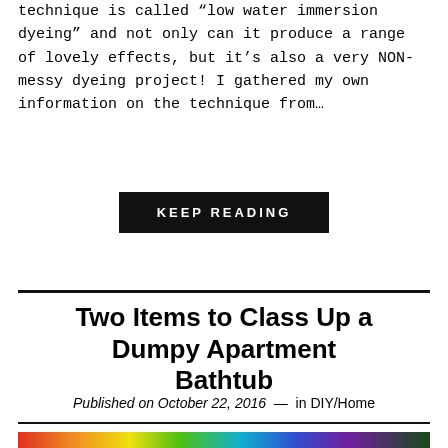technique is called “low water immersion dyeing” and not only can it produce a range of lovely effects, but it’s also a very NON-messy dyeing project! I gathered my own information on the technique from…
KEEP READING
Two Items to Class Up a Dumpy Apartment Bathtub
Published on October 22, 2016 — in DIY/Home
[Figure (photo): Colorful rainbow-striped object with green plant in background]